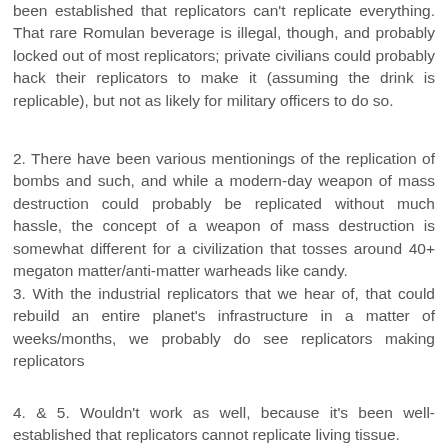been established that replicators can't replicate everything. That rare Romulan beverage is illegal, though, and probably locked out of most replicators; private civilians could probably hack their replicators to make it (assuming the drink is replicable), but not as likely for military officers to do so.
2. There have been various mentionings of the replication of bombs and such, and while a modern-day weapon of mass destruction could probably be replicated without much hassle, the concept of a weapon of mass destruction is somewhat different for a civilization that tosses around 40+ megaton matter/anti-matter warheads like candy.
3. With the industrial replicators that we hear of, that could rebuild an entire planet's infrastructure in a matter of weeks/months, we probably do see replicators making replicators
4. & 5. Wouldn't work as well, because it's been well-established that replicators cannot replicate living tissue.